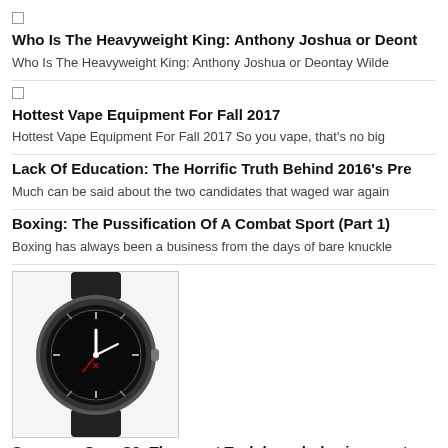Who Is The Heavyweight King: Anthony Joshua or Deontay Wilde
Who Is The Heavyweight King: Anthony Joshua or Deontay Wilde
Hottest Vape Equipment For Fall 2017
Hottest Vape Equipment For Fall 2017 So you vape, that’s no big
Lack Of Education: The Horrific Truth Behind 2016's Pre
Much can be said about the two candidates that waged war again
Boxing: The Pussification Of A Combat Sport (Part 1)
Boxing has always been a business from the days of bare knuckle
[Figure (photo): Samsung Gear S2 smartwatch with round face and dark band]
Samsung Gear S2: The worst Tech launch day in recent m
. If you were one of the many who looked forward to October 2nd
MOST POPULAR